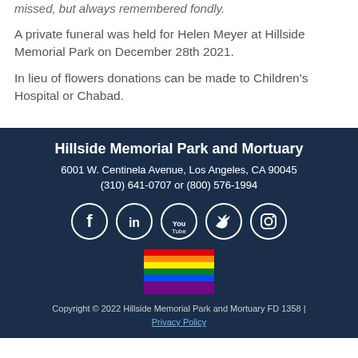missed, but always remembered fondly.
A private funeral was held for Helen Meyer at Hillside Memorial Park on December 28th 2021.
In lieu of flowers donations can be made to Children's Hospital or Chabad.
Hillside Memorial Park and Mortuary
6001 W. Centinela Avenue, Los Angeles, CA 90045
(310) 641-0707 or (800) 576-1994
Copyright © 2022 Hillside Memorial Park and Mortuary FD 1358 | Privacy Policy